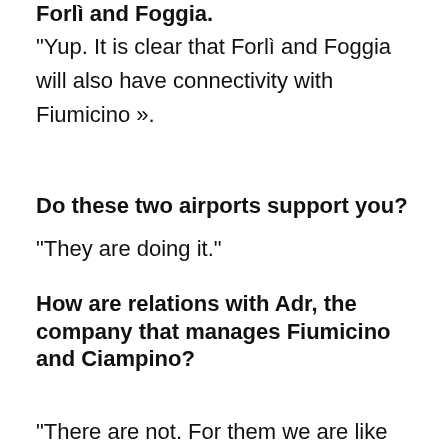Forlì and Foggia.
“Yup. It is clear that Forlì and Foggia will also have connectivity with Fiumicino ».
Do these two airports support you?
“They are doing it.”
How are relations with Adr, the company that manages Fiumicino and Ciampino?
“There are not. For them we are like